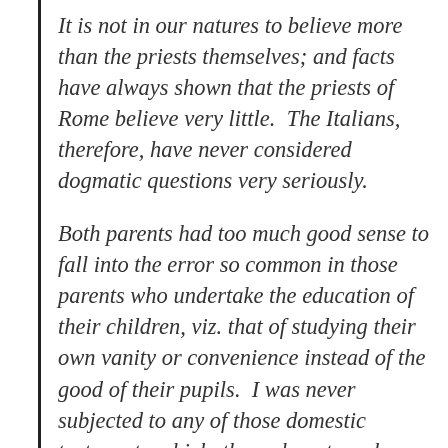It is not in our natures to believe more than the priests themselves; and facts have always shown that the priests of Rome believe very little.  The Italians, therefore, have never considered dogmatic questions very seriously.
Both parents had too much good sense to fall into the error so common in those parents who undertake the education of their children, viz. that of studying their own vanity or convenience instead of the good of their pupils.  I was never subjected to any of those domestic tortures to which, through maternal vanity, those